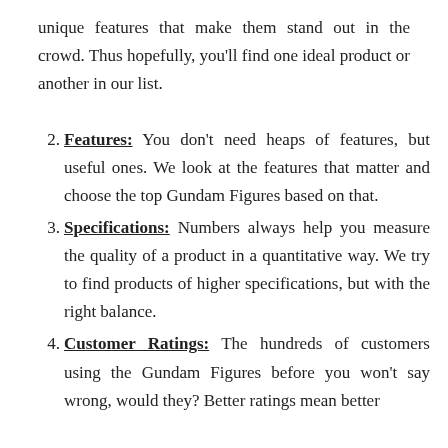unique features that make them stand out in the crowd. Thus hopefully, you'll find one ideal product or another in our list.
Features: You don't need heaps of features, but useful ones. We look at the features that matter and choose the top Gundam Figures based on that.
Specifications: Numbers always help you measure the quality of a product in a quantitative way. We try to find products of higher specifications, but with the right balance.
Customer Ratings: The hundreds of customers using the Gundam Figures before you won't say wrong, would they? Better ratings mean better